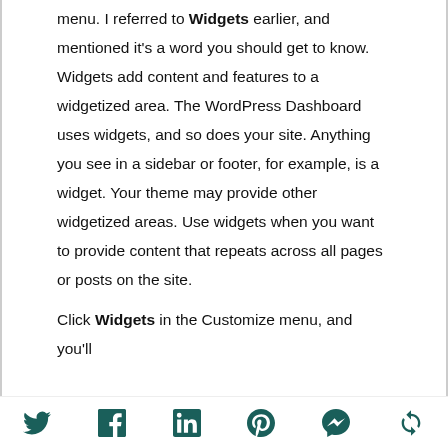menu. I referred to Widgets earlier, and mentioned it's a word you should get to know. Widgets add content and features to a widgetized area. The WordPress Dashboard uses widgets, and so does your site. Anything you see in a sidebar or footer, for example, is a widget. Your theme may provide other widgetized areas. Use widgets when you want to provide content that repeats across all pages or posts on the site.

Click Widgets in the Customize menu, and you'll
Social icons: Twitter, Facebook, LinkedIn, Pinterest, Messenger, Refresh